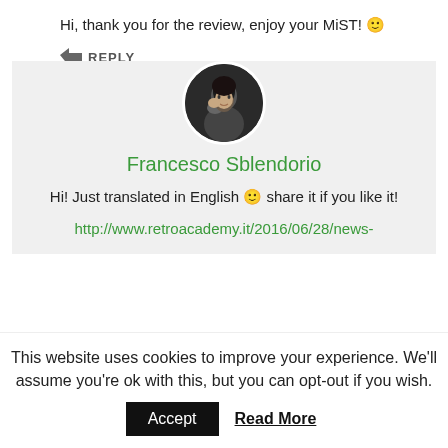Hi, thank you for the review, enjoy your MiST! 🙂
↵ REPLY
📅 JUNE 19, 2016 AT 18:41
[Figure (photo): Circular avatar photo of Francesco Sblendorio, a young man with dark hair leaning on his hand against a black background]
Francesco Sblendorio
Hi! Just translated in English 🙂 share it if you like it!
http://www.retroacademy.it/2016/06/28/news-
This website uses cookies to improve your experience. We'll assume you're ok with this, but you can opt-out if you wish.
Accept   Read More